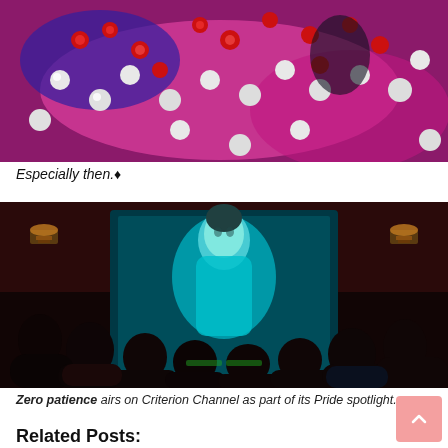[Figure (photo): Close-up colorful image with red and white spherical shapes, resembling berries or buttons, on a vivid pink/magenta and blue background.]
Especially then.♦
[Figure (photo): Cinema audience viewed from behind watching a large screen displaying a black-and-white image of a shirtless man. The theater has dark red walls and warm wall sconces.]
Zero patience airs on Criterion Channel as part of its Pride spotlight.
Related Posts: